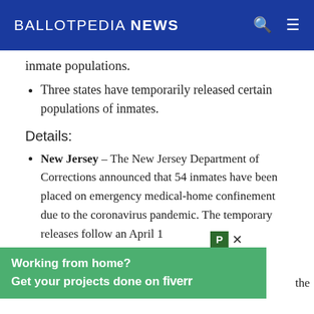BALLOTPEDIA NEWS
inmate populations.
Three states have temporarily released certain populations of inmates.
Details:
New Jersey – The New Jersey Department of Corrections announced that 54 inmates have been placed on emergency medical-home confinement due to the coronavirus pandemic. The temporary releases follow an April 1...
[Figure (screenshot): Green advertisement banner: 'Working from home? Get your projects done on fiverr' with a close button (P x)]
the